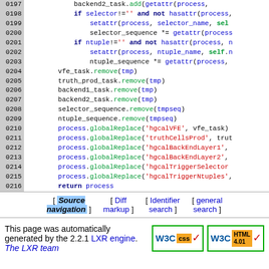[Figure (screenshot): Source code listing lines 0197-0216 showing Python code with syntax highlighting. Line numbers in grey column on left, code with blue variables, green functions, red strings, and bold blue keywords on right.]
[ Source navigation ] [ Diff markup ] [ Identifier search ] [ general search ]
This page was automatically generated by the 2.2.1 LXR engine. The LXR team
[Figure (logo): W3C CSS and W3C HTML 4.01 validation badges]